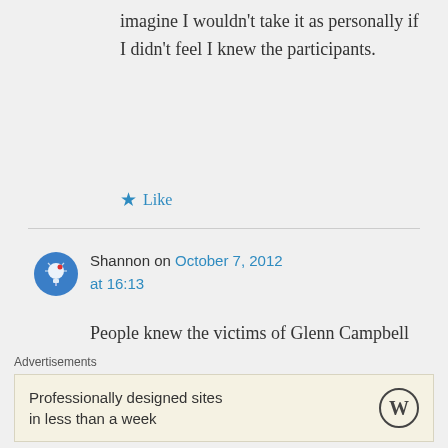imagine I wouldn't take it as personally if I didn't feel I knew the participants.
Like
Shannon on October 7, 2012 at 16:13
People knew the victims of Glenn Campbell and Sean Penn…Tonya Tucker was huge in country…and
Advertisements
Professionally designed sites in less than a week